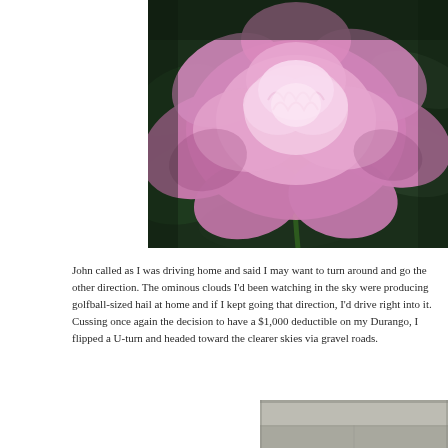[Figure (photo): Close-up photograph of a large pink peony flower in full bloom against a dark green leafy background. The petals are soft pink with lighter pink ruffled inner petals.]
John called as I was driving home and said I may want to turn around and go the other direction. The ominous clouds I'd been watching in the sky were producing golfball-sized hail at home and if I kept going that direction, I'd drive right into it. Cussing once again the decision to have a $1,000 deductible on my Durango, I flipped a U-turn and headed toward the clearer skies via gravel roads.
[Figure (photo): Partially visible photograph of a road or gravel path under overcast/stormy sky conditions, bottom of the page.]